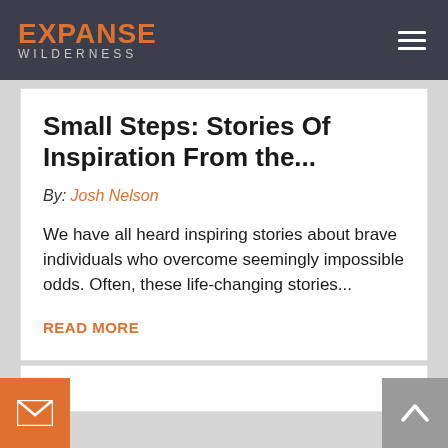EXPANSE WILDERNESS
Small Steps: Stories Of Inspiration From the...
By: Josh Nelson
We have all heard inspiring stories about brave individuals who overcome seemingly impossible odds. Often, these life-changing stories...
READ MORE